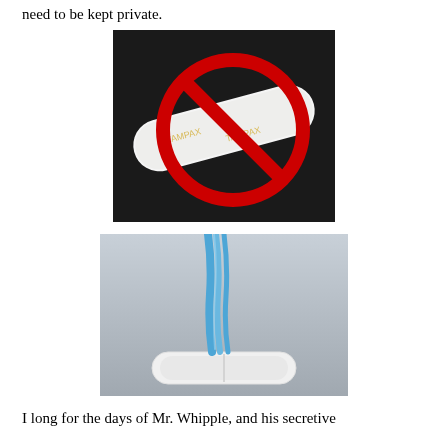need to be kept private.
[Figure (photo): A Tampax tampon wrapped in white packaging with a red prohibition/no symbol (circle with diagonal line) overlaid on top, against a dark background.]
[Figure (photo): A sanitary pad (maxi pad) shown with blue liquid being poured onto it, against a grey background, demonstrating absorption.]
I long for the days of Mr. Whipple, and his secretive